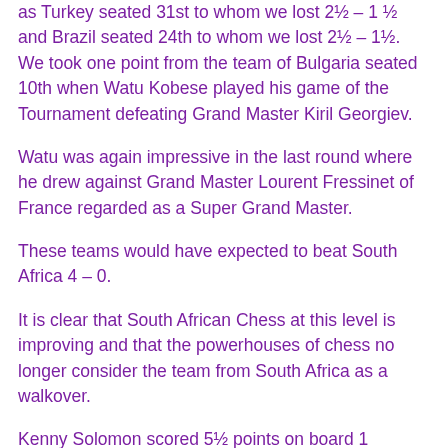as Turkey seated 31st to whom we lost 2½ – 1 ½ and Brazil seated 24th to whom we lost 2½ – 1½. We took one point from the team of Bulgaria seated 10th when Watu Kobese played his game of the Tournament defeating Grand Master Kiril Georgiev.
Watu was again impressive in the last round where he drew against Grand Master Lourent Fressinet of France regarded as a Super Grand Master.
These teams would have expected to beat South Africa 4 – 0.
It is clear that South African Chess at this level is improving and that the powerhouses of chess no longer consider the team from South Africa as a walkover.
Kenny Solomon scored 5½ points on board 1 beating 3